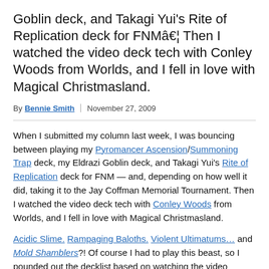Goblin deck, and Takagi Yui's Rite of Replication deck for FNMâ€¦ Then I watched the video deck tech with Conley Woods from Worlds, and I fell in love with Magical Christmasland.
By Bennie Smith | November 27, 2009
When I submitted my column last week, I was bouncing between playing my Pyromancer Ascension/Summoning Trap deck, my Eldrazi Goblin deck, and Takagi Yui's Rite of Replication deck for FNM — and, depending on how well it did, taking it to the Jay Coffman Memorial Tournament. Then I watched the video deck tech with Conley Woods from Worlds, and I fell in love with Magical Christmasland.
Acidic Slime. Rampaging Baloths. Violent Ultimatums… and Mold Shamblers?! Of course I had to play this beast, so I pounded out the decklist based on watching the video